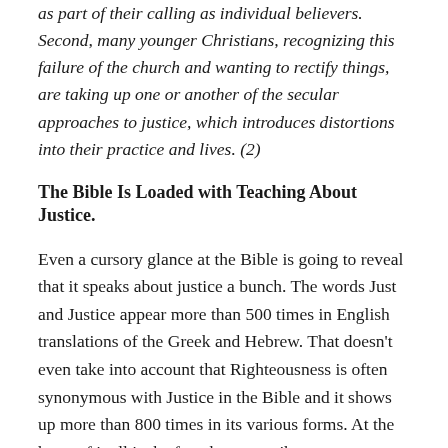as part of their calling as individual believers. Second, many younger Christians, recognizing this failure of the church and wanting to rectify things, are taking up one or another of the secular approaches to justice, which introduces distortions into their practice and lives. (2)
The Bible Is Loaded with Teaching About Justice.
Even a cursory glance at the Bible is going to reveal that it speaks about justice a bunch. The words Just and Justice appear more than 500 times in English translations of the Greek and Hebrew. That doesn't even take into account that Righteousness is often synonymous with Justice in the Bible and it shows up more than 800 times in its various forms. At the heart of it all is the fact that an attribute or characteristic of